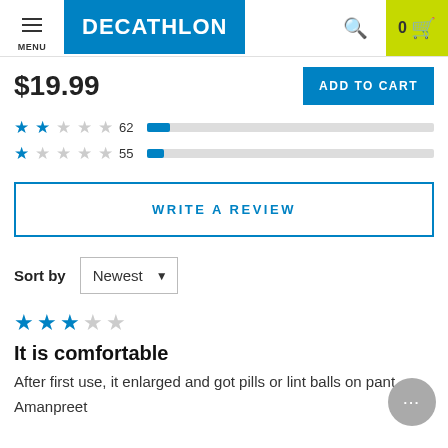[Figure (screenshot): Decathlon website header with hamburger menu, Decathlon logo on blue background, search icon, cart with 0 items on lime green background]
$19.99
ADD TO CART
[Figure (infographic): 2-star rating row with count 62 and a short blue bar; 1-star rating row with count 55 and a short blue bar]
WRITE A REVIEW
Sort by  Newest
[Figure (infographic): 3-star rating (3 blue stars, 2 grey stars)]
It is comfortable
After first use, it enlarged and got pills or lint balls on pant.
Amanpreet